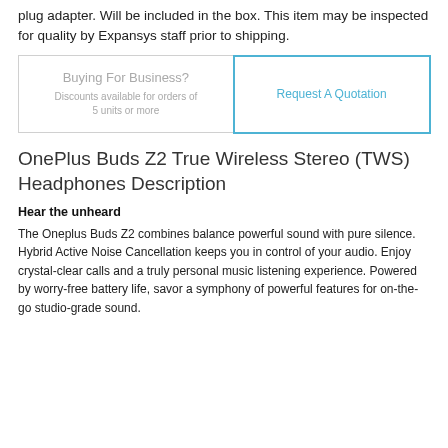plug adapter. Will be included in the box. This item may be inspected for quality by Expansys staff prior to shipping.
Buying For Business?
Discounts available for orders of 5 units or more
Request A Quotation
OnePlus Buds Z2 True Wireless Stereo (TWS) Headphones Description
Hear the unheard
The Oneplus Buds Z2 combines balance powerful sound with pure silence. Hybrid Active Noise Cancellation keeps you in control of your audio. Enjoy crystal-clear calls and a truly personal music listening experience. Powered by worry-free battery life, savor a symphony of powerful features for on-the-go studio-grade sound.